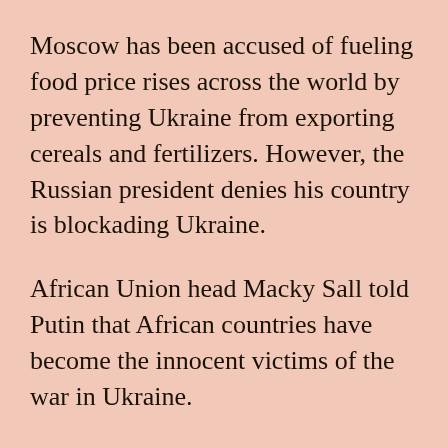Moscow has been accused of fueling food price rises across the world by preventing Ukraine from exporting cereals and fertilizers. However, the Russian president denies his country is blockading Ukraine.
African Union head Macky Sall told Putin that African countries have become the innocent victims of the war in Ukraine.
The Senegalese president, who met with Putin in the Russian city of Sochi on behalf of the 55-member body representing the African continent, said Russia should help ease their suffering.